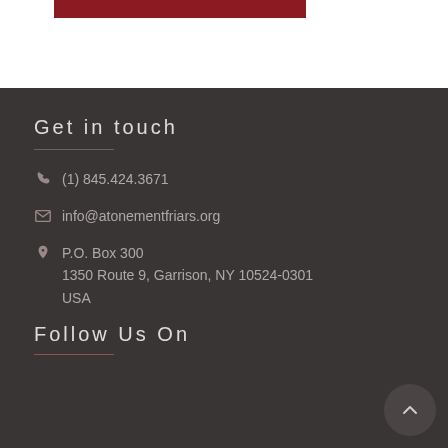[Figure (other): Dark red/maroon horizontal banner bar at top of page]
Get in touch
(1) 845.424.3671
info@atonementfriars.org
P.O. Box 300
1350 Route 9, Garrison, NY 10524-0301
USA
Follow Us On